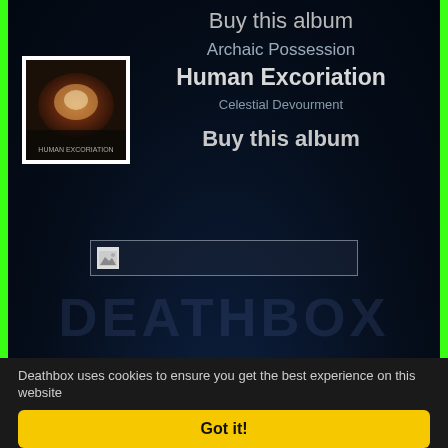[Figure (screenshot): Dark navy blue background with faint decorative art and watermark text DEATHBOX, green side borders, Deathbox music website UI]
[Figure (photo): Album cover thumbnail for 'Archaic Possession' by Human Excoriation, small square image with white border]
Buy this album
Archaic Possession
Human Excoriation
Celestial Devourment
Buy this album
[Figure (other): Broken/placeholder image bar with small image icon]
Deathbox uses cookies to ensure you get the best experience on this website
Got it!